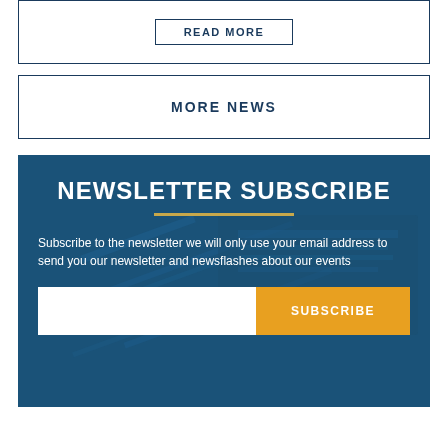READ MORE
MORE NEWS
NEWSLETTER SUBSCRIBE
Subscribe to the newsletter we will only use your email address to send you our newsletter and newsflashes about our events
SUBSCRIBE